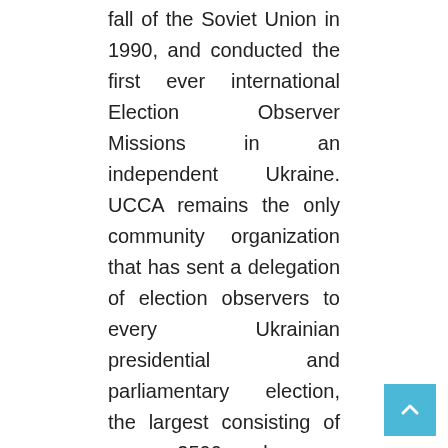fall of the Soviet Union in 1990, and conducted the first ever international Election Observer Missions in an independent Ukraine. UCCA remains the only community organization that has sent a delegation of election observers to every Ukrainian presidential and parliamentary election, the largest consisting of over 2500 observers during the historic 2004 Orange Revolution. Moreover, UCCA organizes academic conferences throughout the United States, and regularly empowers representatives of the Ukrainian-American community to be quoted by print and television journalists when discussing events in Ukraine. The Film Committee of UCCA has provided grants towards documentaries showing the true history of Ukraine, and has co-produced feature films on the lives of Stepan Bandera (1995), General Roman Shukhevych (2000), Metropolitan Andrey Sheptytsky (2008), and